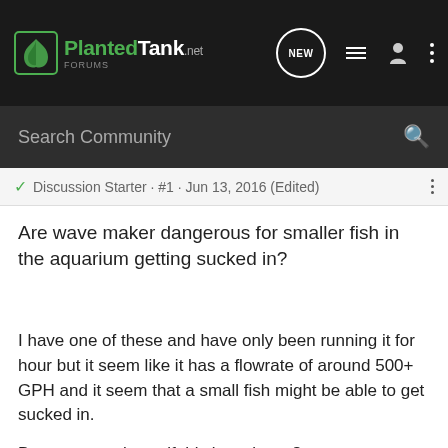[Figure (logo): PlantedTank.net website logo with navigation bar icons (NEW bubble, list icon, person icon, dots menu)]
[Figure (screenshot): Search Community search bar on dark background with magnifying glass icon]
Discussion Starter · #1 · Jun 13, 2016 (Edited)
Are wave maker dangerous for smaller fish in the aquarium getting sucked in?
I have one of these and have only been running it for hour but it seem like it has a flowrate of around 500+ GPH and it seem that a small fish might be able to get sucked in.

Does anyone know if this is an issue?

Thanks